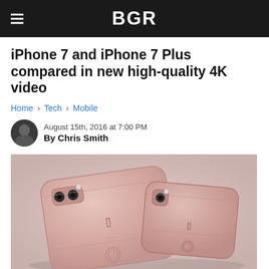BGR
iPhone 7 and iPhone 7 Plus compared in new high-quality 4K video
Home › Tech › Mobile
August 15th, 2016 at 7:00 PM
By Chris Smith
[Figure (photo): Two rose gold colored iPhones (iPhone 7 Plus and iPhone 7) seen from the back on a gray surface, showing dual camera on the larger model and single camera on the smaller model]